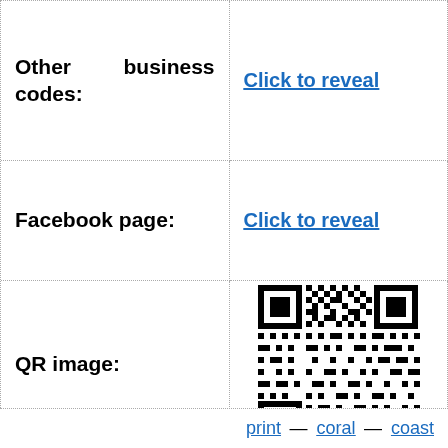Other business codes:
Click to reveal
Facebook page:
Click to reveal
QR image:
[Figure (other): QR code image]
print — coral — coast